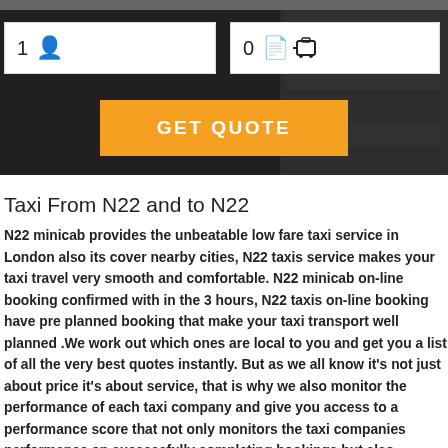[Figure (screenshot): Web form with two input boxes showing '1 person' and '0 luggage' fields over a dark stone background, with an orange GET QUOTE button below]
Taxi From N22 and to N22
N22 minicab provides the unbeatable low fare taxi service in London also its cover nearby cities, N22 taxis service makes your taxi travel very smooth and comfortable. N22 minicab on-line booking confirmed with in the 3 hours, N22 taxis on-line booking have pre planned booking that make your taxi transport well planned .We work out which ones are local to you and get you a list of all the very best quotes instantly. But as we all know it's not just about price it's about service, that is why we also monitor the performance of each taxi company and give you access to a performance score that not only monitors the taxi companies performance on successfully completing bookings but also collects the customer feedback too.N22 cabs booking form